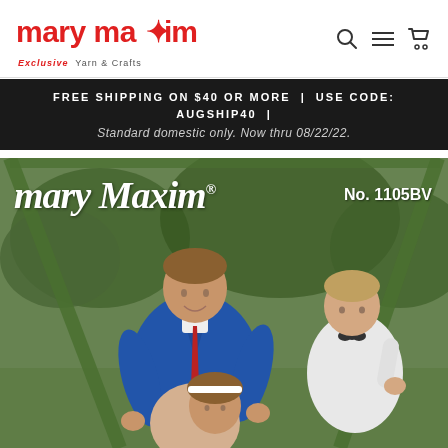[Figure (logo): Mary Maxim logo in red text with star accent, subtitle 'Exclusive Yarn & Crafts']
FREE SHIPPING ON $40 OR MORE | USE CODE: AUGSHIP40 | Standard domestic only. Now thru 08/22/22.
[Figure (photo): Vintage Mary Maxim catalog cover No. 1105BV showing three children wearing hand-knitted sweaters outdoors near playground equipment. Older boy in blue V-neck raglan sweater with tie, young girl with white headband, and toddler boy in white sweater with bow tie. Script Mary Maxim logo with registered trademark symbol in upper left. Catalog number No. 1105BV in upper right.]